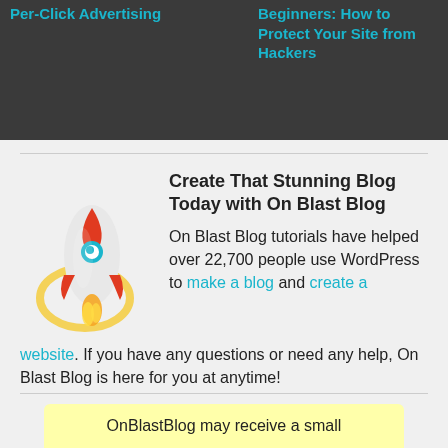Per-Click Advertising
Beginners: How to Protect Your Site from Hackers
Create That Stunning Blog Today with On Blast Blog
On Blast Blog tutorials have helped over 22,700 people use WordPress to make a blog and create a website. If you have any questions or need any help, On Blast Blog is here for you at anytime!
OnBlastBlog may receive a small